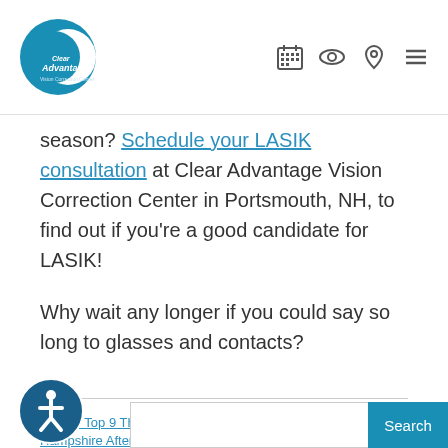Clear Advantage Vision Correction Center
season? Schedule your LASIK consultation at Clear Advantage Vision Correction Center in Portsmouth, NH, to find out if you’re a good candidate for LASIK!
Why wait any longer if you could say so long to glasses and contacts?
<< The Top 9 Things to Do in New Hampshire After LASIK Eye Surgery
What is the Visian ICL? >>